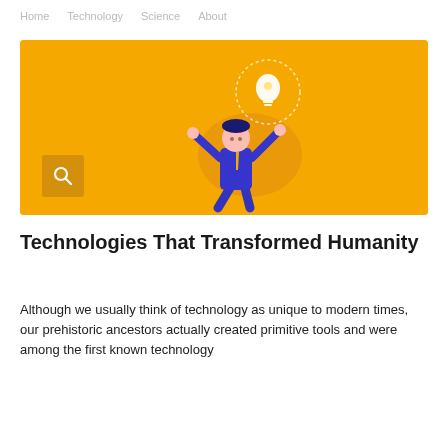Home   Technology   Science   About
[Figure (illustration): Yellow banner with illustration of a person in a blue suit pointing upward at a glowing lightbulb with a circular dashed halo, set against an orange blob shape. A dark yellow search icon box is in the lower left corner.]
Technologies That Transformed Humanity
Although we usually think of technology as unique to modern times, our prehistoric ancestors actually created primitive tools and were among the first known technology